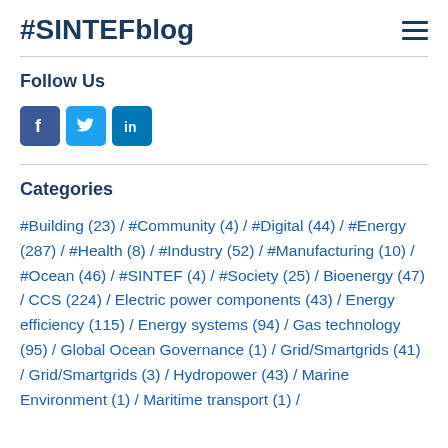#SINTEFblog
Follow Us
[Figure (other): Social media icons: Facebook, Twitter, LinkedIn]
Categories
#Building (23) / #Community (4) / #Digital (44) / #Energy (287) / #Health (8) / #Industry (52) / #Manufacturing (10) / #Ocean (46) / #SINTEF (4) / #Society (25) / Bioenergy (47) / CCS (224) / Electric power components (43) / Energy efficiency (115) / Energy systems (94) / Gas technology (95) / Global Ocean Governance (1) / Grid/Smartgrids (41) / Grid/Smartgrids (3) / Hydropower (43) / Marine Environment (1) / Maritime transport (1) /